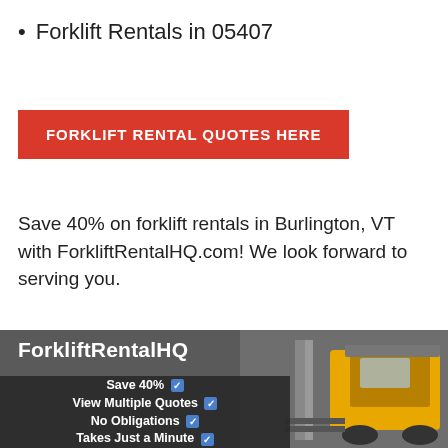Forklift Rentals in 05407
FORKLIFT RENTAL QUOTES HERE
Save 40% on forklift rentals in Burlington, VT with ForkliftRentalHQ.com! We look forward to serving you.
[Figure (infographic): ForkliftRentalHQ banner with dark background showing a yellow forklift on the right. Left side shows text: ForkliftRentalHQ, Save 40% checkmark, View Multiple Quotes checkmark, No Obligations checkmark, Takes Just a Minute checkmark.]